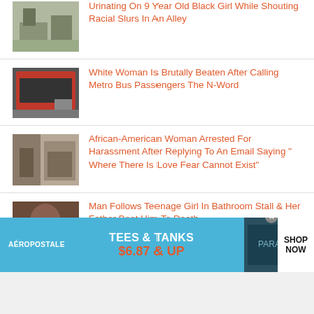Urinating On 9 Year Old Black Girl While Shouting Racial Slurs In An Alley
White Woman Is Brutally Beaten After Calling Metro Bus Passengers The N-Word
African-American Woman Arrested For Harassment After Replying To An Email Saying " Where There Is Love Fear Cannot Exist"
Man Follows Teenage Girl In Bathroom Stall & Her Father Beat Him To Death
[Figure (screenshot): Aeropostale advertisement banner: TEES & TANKS $6.87 & UP, SHOP NOW]